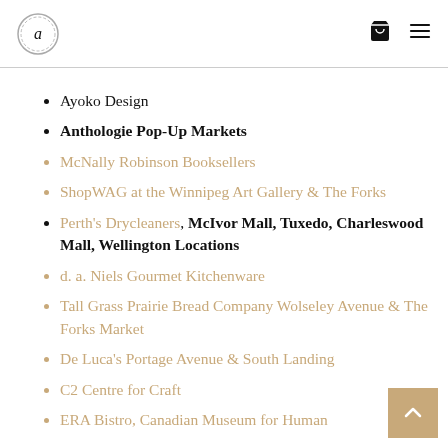Ayoko Design logo, cart icon, menu icon
Ayoko Design
Anthologie Pop-Up Markets
McNally Robinson Booksellers
ShopWAG at the Winnipeg Art Gallery & The Forks
Perth's Drycleaners, McIvor Mall, Tuxedo, Charleswood Mall, Wellington Locations
d. a. Niels Gourmet Kitchenware
Tall Grass Prairie Bread Company Wolseley Avenue & The Forks Market
De Luca's Portage Avenue & South Landing
C2 Centre for Craft
ERA Bistro, Canadian Museum for Human